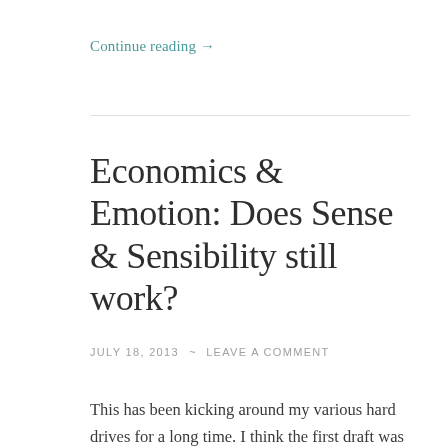Continue reading →
Economics & Emotion: Does Sense & Sensibility still work?
JULY 18, 2013  ~  LEAVE A COMMENT
This has been kicking around my various hard drives for a long time. I think the first draft was in 2004; I know I finished a good draft in 2009, and I've tweaked it occasionally since then. It's been a side project for when Galantier leaves me brain-fried.